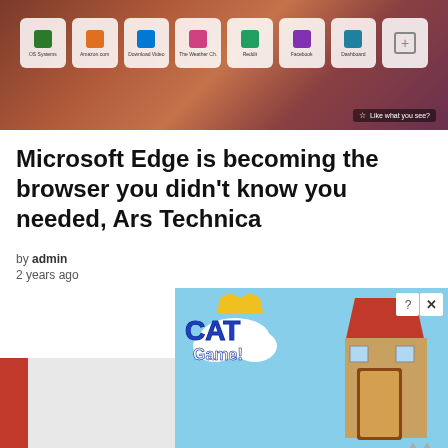[Figure (screenshot): Microsoft Edge browser new tab page with colorful bookmarks (OS Systems, Amazon, Download Video, The Weather Ch., Reddit, Facebook, Dashboard) on a reddish marble background with a 'Like what you see?' badge.]
Microsoft Edge is becoming the browser you didn’t know you needed, Ars Technica
by admin
2 years ago
[Figure (screenshot): Cat Game mobile app advertisement popup showing cartoon cats, a house, and text 'ADOPT A CAT NOW' with a close button (X) in the top-right corner.]
X close